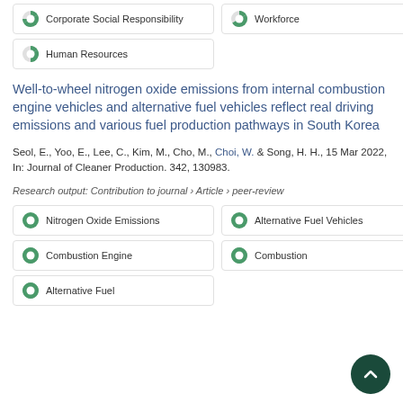Corporate Social Responsibility
Workforce
Human Resources
Well-to-wheel nitrogen oxide emissions from internal combustion engine vehicles and alternative fuel vehicles reflect real driving emissions and various fuel production pathways in South Korea
Seol, E., Yoo, E., Lee, C., Kim, M., Cho, M., Choi, W. & Song, H. H., 15 Mar 2022, In: Journal of Cleaner Production. 342, 130983.
Research output: Contribution to journal › Article › peer-review
Nitrogen Oxide Emissions
Alternative Fuel Vehicles
Combustion Engine
Combustion
Alternative Fuel